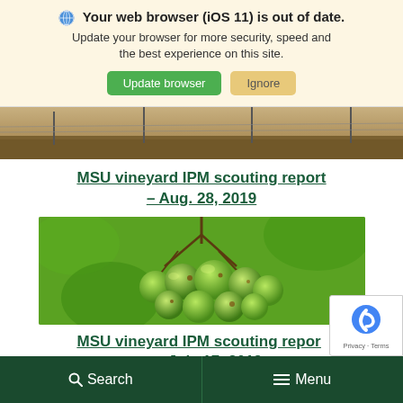Your web browser (iOS 11) is out of date. Update your browser for more security, speed and the best experience on this site.
Update browser | Ignore
[Figure (photo): Top strip of a vineyard photo showing rows of grapevines with posts in a dry field]
MSU vineyard IPM scouting report – Aug. 28, 2019
[Figure (photo): Close-up photo of green grape clusters on a vine showing small round grapes with some spots or disease marks]
MSU vineyard IPM scouting repor... – July 17, 2019
Search   Menu